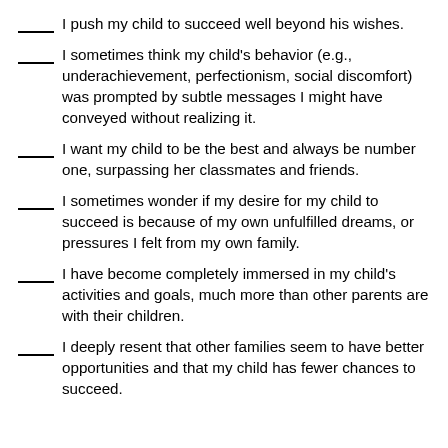____ I push my child to succeed well beyond his wishes.
____ I sometimes think my child's behavior (e.g., underachievement, perfectionism, social discomfort) was prompted by subtle messages I might have conveyed without realizing it.
____ I want my child to be the best and always be number one, surpassing her classmates and friends.
____ I sometimes wonder if my desire for my child to succeed is because of my own unfulfilled dreams, or pressures I felt from my own family.
____ I have become completely immersed in my child's activities and goals, much more than other parents are with their children.
____ I deeply resent that other families seem to have better opportunities and that my child has fewer chances to succeed.